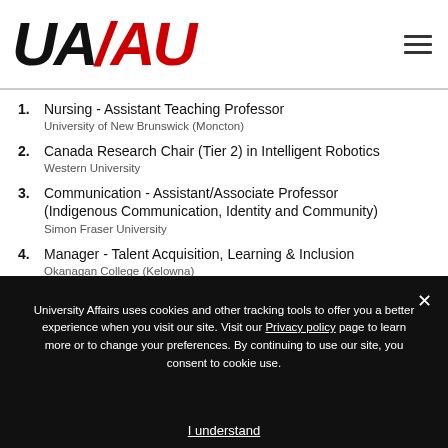UA/AU logo and navigation menu
Nursing - Assistant Teaching Professor
University of New Brunswick (Moncton)
Canada Research Chair (Tier 2) in Intelligent Robotics
Western University
Communication - Assistant/Associate Professor (Indigenous Communication, Identity and Community)
Simon Fraser University
Manager - Talent Acquisition, Learning & Inclusion
Okanagan College (Kelowna)
University Affairs uses cookies and other tracking tools to offer you a better experience when you visit our site. Visit our Privacy policy page to learn more or to change your preferences. By continuing to use our site, you consent to cookie use.
I understand